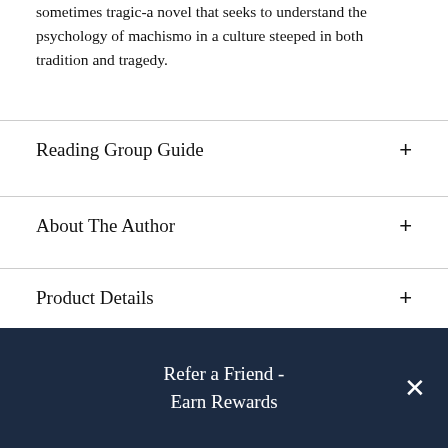sometimes tragic-a novel that seeks to understand the psychology of machismo in a culture steeped in both tradition and tragedy.
Reading Group Guide
About The Author
Product Details
Resources and Downloads
[Figure (photo): Dark photographic image strip showing figures, partially visible at bottom of page]
Refer a Friend - Earn Rewards